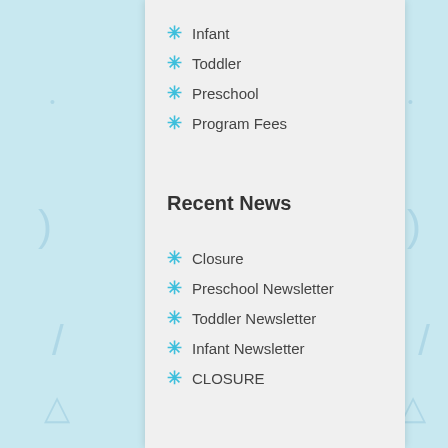Infant
Toddler
Preschool
Program Fees
Recent News
Closure
Preschool Newsletter
Toddler Newsletter
Infant Newsletter
CLOSURE
Testimonials
Lydia M